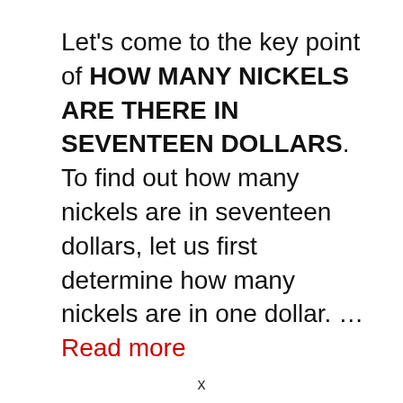Let's come to the key point of HOW MANY NICKELS ARE THERE IN SEVENTEEN DOLLARS. To find out how many nickels are in seventeen dollars, let us first determine how many nickels are in one dollar. … Read more
x